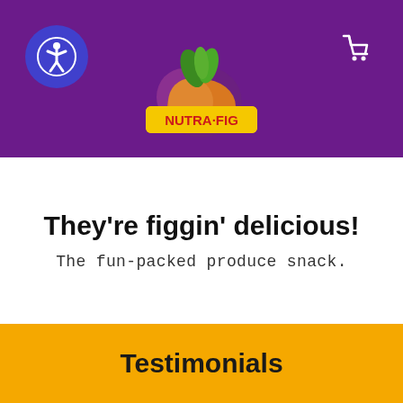[Figure (logo): Nutra-Fig brand logo with fig/onion illustration and yellow banner reading NUTRA·FIG]
They're figgin' delicious!
The fun-packed produce snack.
Testimonials